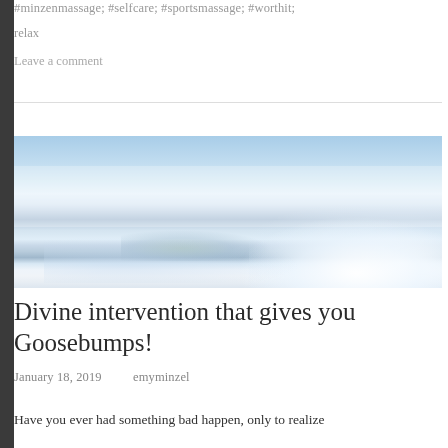#minzenmassage; #selfcare; #sportsmassage; #worthit;
relax
Leave a comment
[Figure (photo): Aerial photograph taken from an airplane showing a coastal landscape with islands, water, clouds, and haze below the horizon. Light blue sky fades into water and land masses with white clouds on the right side.]
Divine intervention that gives you Goosebumps!
January 18, 2019    emyminzel
Have you ever had something bad happen, only to realize